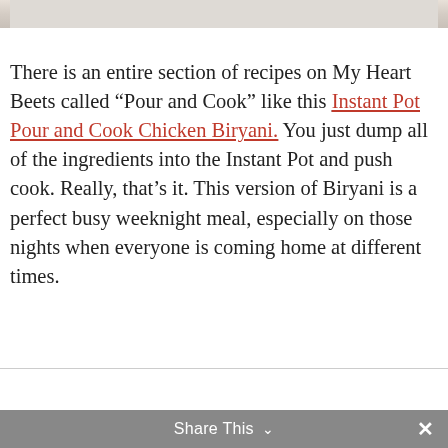[Figure (photo): Partial view of a food photo at the top of the page, showing what appears to be a dish with light-colored ingredients.]
There is an entire section of recipes on My Heart Beets called “Pour and Cook” like this Instant Pot Pour and Cook Chicken Biryani. You just dump all of the ingredients into the Instant Pot and push cook. Really, that’s it. This version of Biryani is a perfect busy weeknight meal, especially on those nights when everyone is coming home at different times.
Share This ⌄  ×